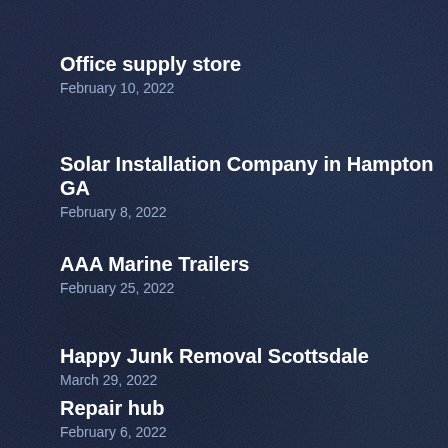Office supply store
February 10, 2022
Solar Installation Company in Hampton GA
February 8, 2022
AAA Marine Trailers
February 25, 2022
Happy Junk Removal Scottsdale
March 29, 2022
Repair hub
February 6, 2022